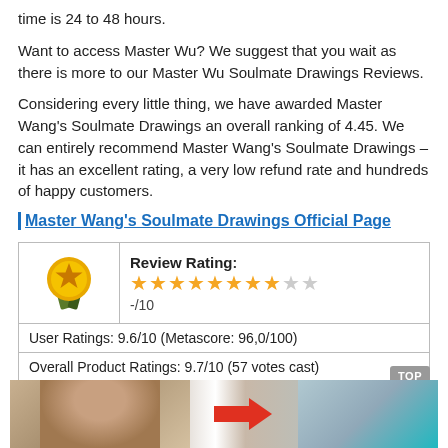time is 24 to 48 hours.
Want to access Master Wu? We suggest that you wait as there is more to our Master Wu Soulmate Drawings Reviews.
Considering every little thing, we have awarded Master Wang's Soulmate Drawings an overall ranking of 4.45. We can entirely recommend Master Wang's Soulmate Drawings – it has an excellent rating, a very low refund rate and hundreds of happy customers.
Master Wang's Soulmate Drawings Official Page
| [medal icon] | Review Rating: ★★★★★★★★☆☆  -/10 |
|  | User Ratings: 9.6/10 (Metascore: 96,0/100) |
|  | Overall Product Ratings: 9.7/10 (57 votes cast) |
[Figure (photo): Photo strip at the bottom showing two people with a red arrow between them]